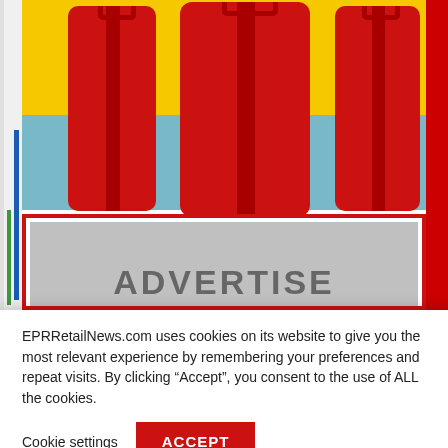[Figure (illustration): A cropped webpage view showing a colorful illustration of red luggage/suitcases on a yellow and teal background, and below it an advertisement placeholder box with a red border and grey interior showing the word ADVERTISE, with partial side strips on left and right edges.]
EPRRetailNews.com uses cookies on its website to give you the most relevant experience by remembering your preferences and repeat visits. By clicking “Accept”, you consent to the use of ALL the cookies.
Cookie settings
ACCEPT